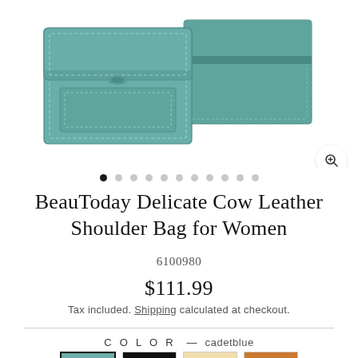[Figure (photo): Product photo of a teal/cadetblue cow leather structured shoulder bag, showing front and back views of the bag against a white background.]
BeauToday Delicate Cow Leather Shoulder Bag for Women
6100980
$111.99
Tax included. Shipping calculated at checkout.
COLOR — cadetblue